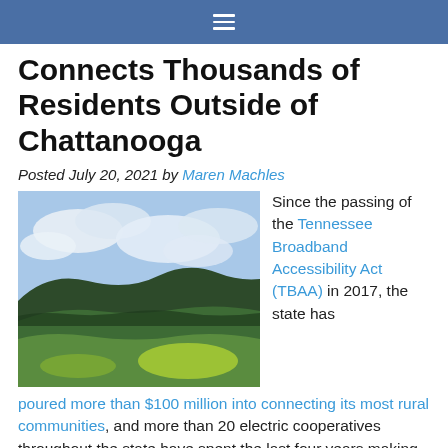≡
Connects Thousands of Residents Outside of Chattanooga
Posted July 20, 2021 by Maren Machles
[Figure (photo): Aerial landscape photo of green rolling hills and fields under a partly cloudy sky, rural Tennessee countryside]
Since the passing of the Tennessee Broadband Accessibility Act (TBAA) in 2017, the state has poured more than $100 million into connecting its most rural communities, and more than 20 electric cooperatives throughout the state have spent the last four years making their way into the broadband business.